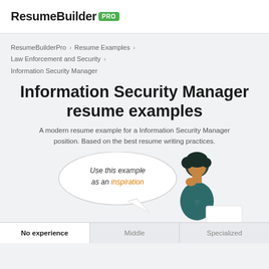ResumeBuilder PRO
ResumeBuilderPro > Resume Examples > Law Enforcement and Security > Information Security Manager
Information Security Manager resume examples
A modern resume example for a Information Security Manager position. Based on the best resume writing practices.
[Figure (illustration): Illustration of a person with a speech bubble saying 'Use this example as an inspiration' with the word 'inspiration' in orange/amber color. Below are three tabs: No experience (active/white), Middle, Specialized.]